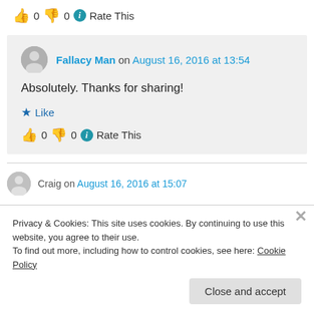👍 0 👎 0 ℹ Rate This
Fallacy Man on August 16, 2016 at 13:54
Absolutely. Thanks for sharing!
★ Like
👍 0 👎 0 ℹ Rate This
Craig on August 16, 2016 at 15:07
Privacy & Cookies: This site uses cookies. By continuing to use this website, you agree to their use.
To find out more, including how to control cookies, see here: Cookie Policy
Close and accept